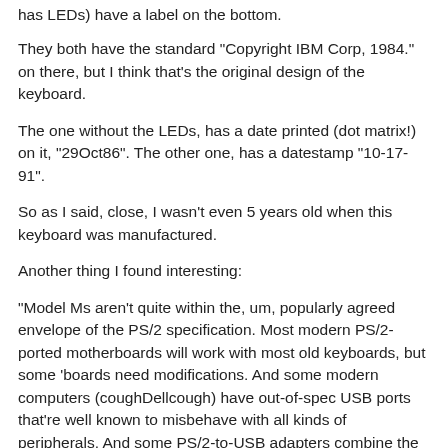has LEDs) have a label on the bottom.
They both have the standard "Copyright IBM Corp, 1984." on there, but I think that's the original design of the keyboard.
The one without the LEDs, has a date printed (dot matrix!) on it, "29Oct86". The other one, has a datestamp "10-17-91".
So as I said, close, I wasn't even 5 years old when this keyboard was manufactured.
Another thing I found interesting:
"Model Ms aren't quite within the, um, popularly agreed envelope of the PS/2 specification. Most modern PS/2-ported motherboards will work with most old keyboards, but some 'boards need modifications. And some modern computers (coughDellcough) have out-of-spec USB ports that're well known to misbehave with all kinds of peripherals. And some PS/2-to-USB adapters combine the worst qualities of the most half-assed implementations of each interface."
However, maybe that bit about the "most half-assed...